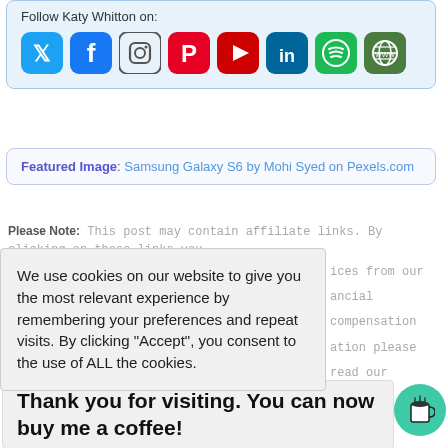Follow Katy Whitton on:
[Figure (illustration): Social media icons: Twitter, Facebook, Instagram, Pinterest, YouTube, LinkedIn, Spotify, Website/Globe]
Featured Image: Samsung Galaxy S6 by Mohi Syed on Pexels.com
Please Note: This post may contain affiliate links. By clicking on these links you
We use cookies on our website to give you the most relevant experience by remembering your preferences and repeat visits. By clicking "Accept", you consent to the use of ALL the cookies.
ices from our
ancial compensation
ation please read our
Thank you for visiting. You can now buy me a coffee!
Filed Under: Android, Email Management, Google,